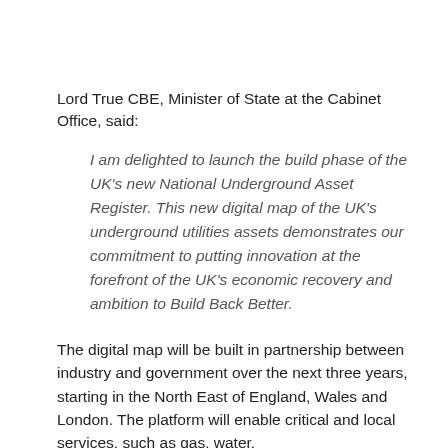Lord True CBE, Minister of State at the Cabinet Office, said:
I am delighted to launch the build phase of the UK's new National Underground Asset Register. This new digital map of the UK's underground utilities assets demonstrates our commitment to putting innovation at the forefront of the UK's economic recovery and ambition to Build Back Better.
The digital map will be built in partnership between industry and government over the next three years, starting in the North East of England, Wales and London. The platform will enable critical and local services, such as gas, water,